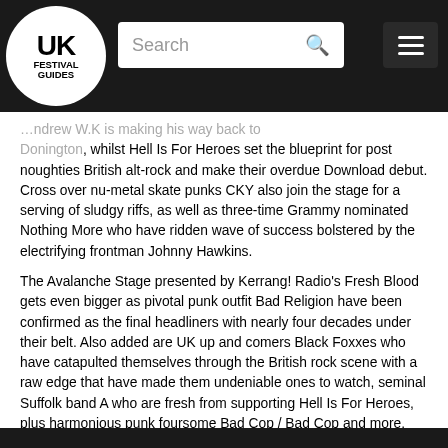UK Festival Guides — navigation bar with search
…ndrew W.K is making his way back to Donington, whilst Hell Is For Heroes set the blueprint for post noughties British alt-rock and make their overdue Download debut. Cross over nu-metal skate punks CKY also join the stage for a serving of sludgy riffs, as well as three-time Grammy nominated Nothing More who have ridden wave of success bolstered by the electrifying frontman Johnny Hawkins.
The Avalanche Stage presented by Kerrang! Radio's Fresh Blood gets even bigger as pivotal punk outfit Bad Religion have been confirmed as the final headliners with nearly four decades under their belt. Also added are UK up and comers Black Foxxes who have catapulted themselves through the British rock scene with a raw edge that have made them undeniable ones to watch, seminal Suffolk band A who are fresh from supporting Hell Is For Heroes, plus harmonious punk foursome Bad Cop / Bad Cop and more.